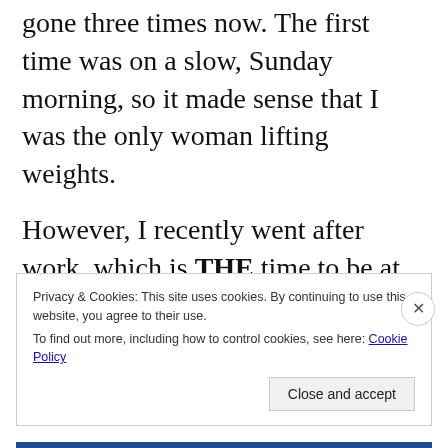gone three times now. The first time was on a slow, Sunday morning, so it made sense that I was the only woman lifting weights.

However, I recently went after work, which is THE time to be at the gym. I felt like the whole city was there. And yet... I was the only woman in the weight room.
Privacy & Cookies: This site uses cookies. By continuing to use this website, you agree to their use.
To find out more, including how to control cookies, see here: Cookie Policy

Close and accept